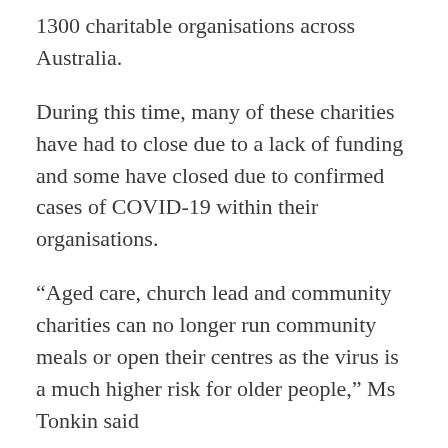1300 charitable organisations across Australia.
During this time, many of these charities have had to close due to a lack of funding and some have closed due to confirmed cases of COVID-19 within their organisations.
“Aged care, church lead and community charities can no longer run community meals or open their centres as the virus is a much higher risk for older people,” Ms Tonkin said
“Homeless services who may usually operate soup kitchens can no longer operate and clients are having to travel further to find support and other services.”